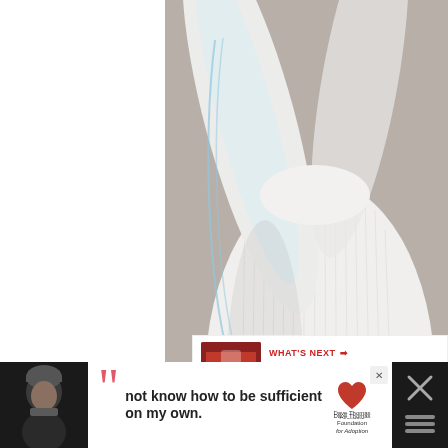[Figure (photo): Close-up of a handmade white fabric stuffed animal/bunny toy with ears, showing stitching detail. Watermark reads 'Tutorial © Craft Passion']
Tutorial © Craft Passion
[Figure (infographic): Action buttons: up arrow, heart/save button (pink), share button]
WHAT'S NEXT → Christmas Stocking...
[Figure (photo): Advertisement banner: person in beanie hat, quote text 'not know how to be sufficient on my own.', Dave Thomas Foundation for Adoption logo]